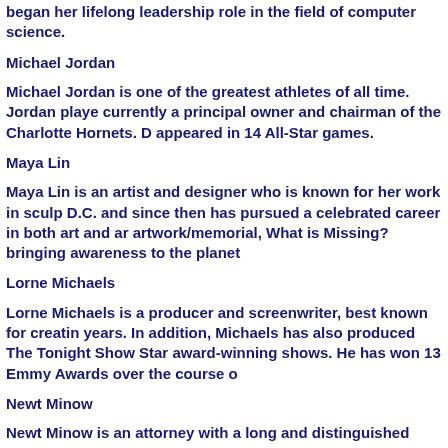began her lifelong leadership role in the field of computer science.
Michael Jordan
Michael Jordan is one of the greatest athletes of all time. Jordan played... currently a principal owner and chairman of the Charlotte Hornets. D... appeared in 14 All-Star games.
Maya Lin
Maya Lin is an artist and designer who is known for her work in sculp... D.C. and since then has pursued a celebrated career in both art and ar... artwork/memorial, What is Missing? bringing awareness to the planet...
Lorne Michaels
Lorne Michaels is a producer and screenwriter, best known for creatin... years. In addition, Michaels has also produced The Tonight Show Star... award-winning shows. He has won 13 Emmy Awards over the course o...
Newt Minow
Newt Minow is an attorney with a long and distinguished career in pub... Supreme Court clerk and counsel to the Governor of Illinois. In 1961, ... Communications Committee (FCC), where he helped shape the future ... the public interest. In the five decades since leaving the FCC, Minow h... public and charitable causes.
Eduardo Padron
Eduardo Padron is the President of Miami Dade College (MDC), one o...